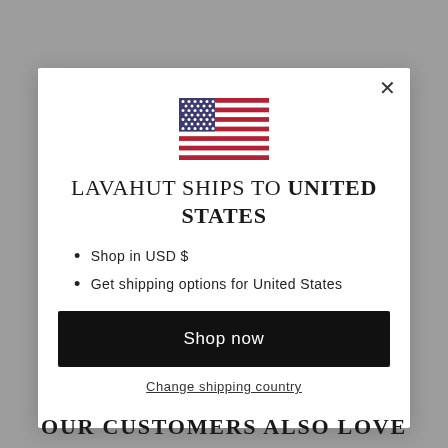[Figure (illustration): US flag icon shown at top center of modal dialog]
LAVAHUT SHIPS TO UNITED STATES
Shop in USD $
Get shipping options for United States
Shop now
Change shipping country
OUR CUSTOMERS ALSO LOVE